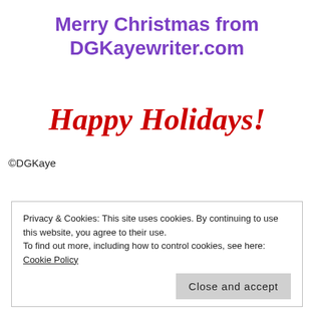Merry Christmas from DGKayewriter.com
Happy Holidays!
©DGKaye
Privacy & Cookies: This site uses cookies. By continuing to use this website, you agree to their use.
To find out more, including how to control cookies, see here: Cookie Policy
Close and accept